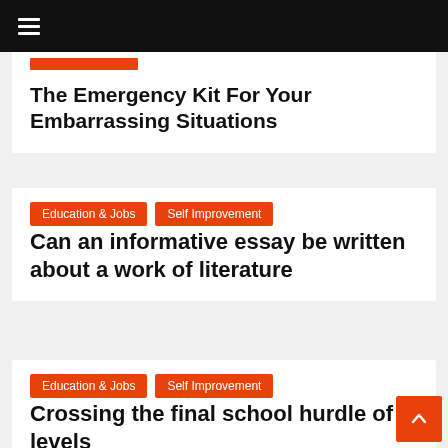☰ (hamburger menu)
The Emergency Kit For Your Embarrassing Situations
Education & Jobs | Self Improvement
Can an informative essay be written about a work of literature
Education & Jobs | Self Improvement
Crossing the final school hurdle of a levels